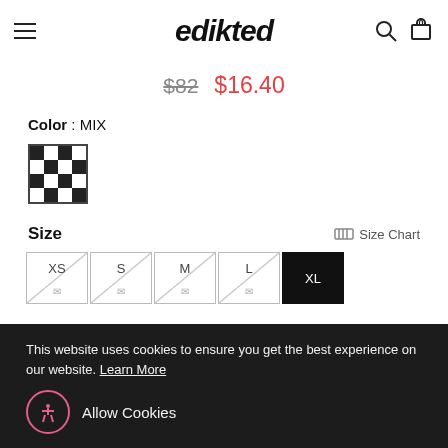edikted
$82  $16.40
Color : MIX
[Figure (photo): Checkered black and white pattern swatch thumbnail]
Size   Size Chart
XS  S  M  L  XL
ADD TO BAG
This website uses cookies to ensure you get the best experience on our website.  Learn More
Allow Cookies